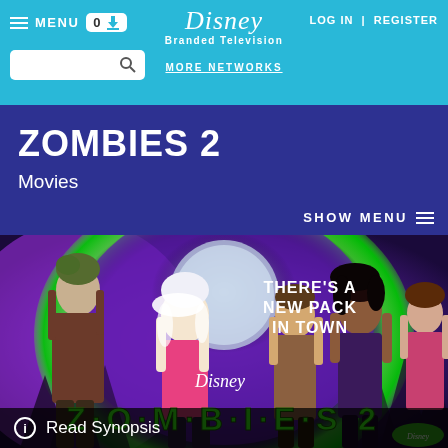MENU | 0 | Disney Branded Television | MORE NETWORKS | LOG IN | REGISTER
ZOMBIES 2
Movies
SHOW MENU
[Figure (photo): Movie promotional image for ZOMBIES 2 showing cast characters against a purple and green glowing circular background with trees and moon. Text reads THERE'S A NEW PACK IN TOWN and ZOMBIES 2 with Disney logo.]
Read Synopsis